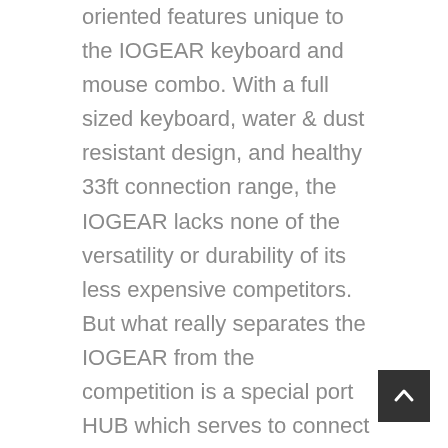oriented features unique to the IOGEAR keyboard and mouse combo. With a full sized keyboard, water & dust resistant design, and healthy 33ft connection range, the IOGEAR lacks none of the versatility or durability of its less expensive competitors. But what really separates the IOGEAR from the competition is a special port HUB which serves to connect the keyboard, mouse, and gamepad to your console. The port HUB allows any console to be kbm compatible in seconds, and also offers PC gamers a chance to explore console gaming without having to give up the pinpoint accuracy of a mouse and keyboard.
Designed specifically for fast-paced shooters and adventure games, the IOGEAR is able to store multiple game profiles, allowing for users to quickly transition between control settings when switching games. Through the IOGEAR controller mapping software, users